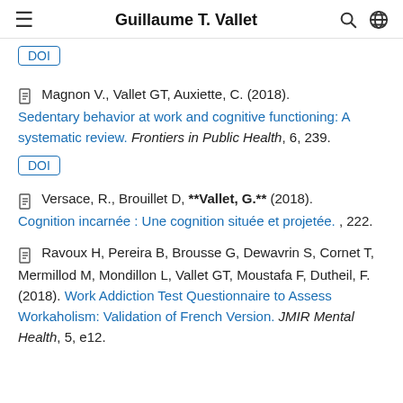Guillaume T. Vallet
DOI (button, top, partial)
Magnon V., Vallet GT, Auxiette, C. (2018). Sedentary behavior at work and cognitive functioning: A systematic review. Frontiers in Public Health, 6, 239.
DOI (button)
Versace, R., Brouillet D, **Vallet, G.** (2018). Cognition incarnée : Une cognition située et projetée. , 222.
Ravoux H, Pereira B, Brousse G, Dewavrin S, Cornet T, Mermillod M, Mondillon L, Vallet GT, Moustafa F, Dutheil, F. (2018). Work Addiction Test Questionnaire to Assess Workaholism: Validation of French Version. JMIR Mental Health, 5, e12.